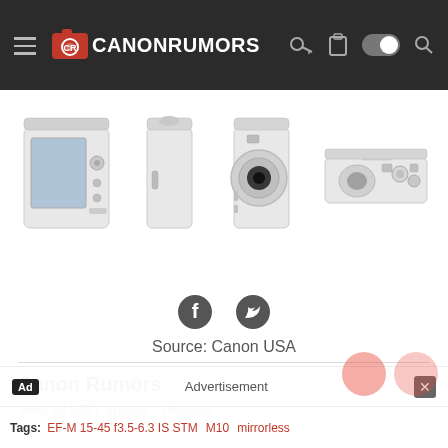Canon Rumors
[Figure (photo): Four views of a white/silver Canon mirrorless camera: back view showing LCD screen, left side view, front view, and top view]
[Figure (infographic): Facebook and Twitter social share icons]
Source: Canon USA
Canon Rumors
View all 9187 articles · Website
Tags:   EF-M 15-45 f3.5-6.3 IS STM   M10   mirrorless
Ad   Advertisement